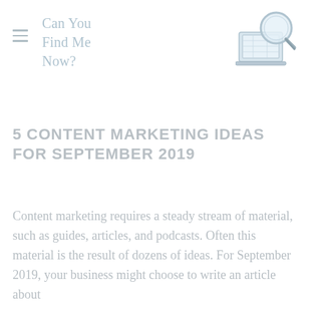[Figure (logo): Can You Find Me Now? website logo with magnifying glass over laptop illustration and hamburger menu icon]
5 CONTENT MARKETING IDEAS FOR SEPTEMBER 2019
Content marketing requires a steady stream of material, such as guides, articles, and podcasts. Often this material is the result of dozens of ideas. For September 2019, your business might choose to write an article about